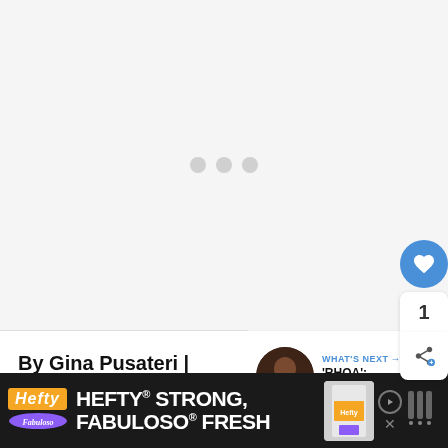[Figure (photo): Loading placeholder area with three gray dots centered on a light gray background]
By Gina Pusateri | Contributing Writer, BuddyTV
WHAT'S NEXT → 'RHOA': Porsha...
[Figure (photo): Hefty Strong, Fabuloso Fresh advertisement banner on dark background]